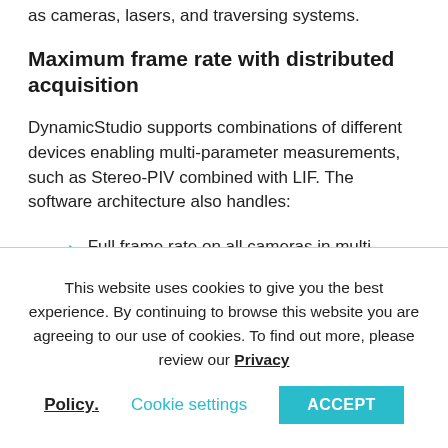as cameras, lasers, and traversing systems.
Maximum frame rate with distributed acquisition
DynamicStudio supports combinations of different devices enabling multi-parameter measurements, such as Stereo-PIV combined with LIF. The software architecture also handles:
Full frame rate on all cameras in multi-camera set-ups such as stereo PIV or Volumetric Velocimetry, LIF, or large area applications with image stitching
This website uses cookies to give you the best experience. By continuing to browse this website you are agreeing to our use of cookies. To find out more, please review our Privacy Policy. Cookie settings ACCEPT